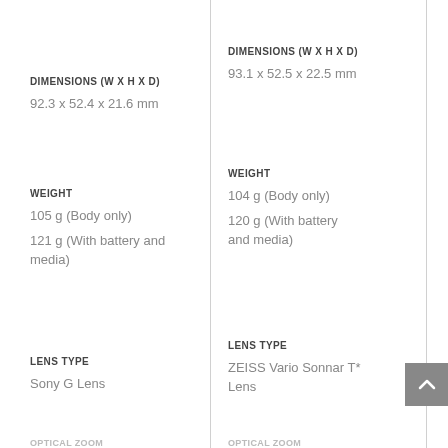DIMENSIONS (W X H X D)
92.3 x 52.4 x 21.6 mm
WEIGHT
105 g (Body only)
121 g (With battery and media)
LENS TYPE
Sony G Lens
DIMENSIONS (W X H X D)
93.1 x 52.5 x 22.5 mm
WEIGHT
104 g (Body only)
120 g (With battery and media)
LENS TYPE
ZEISS Vario Sonnar T* Lens